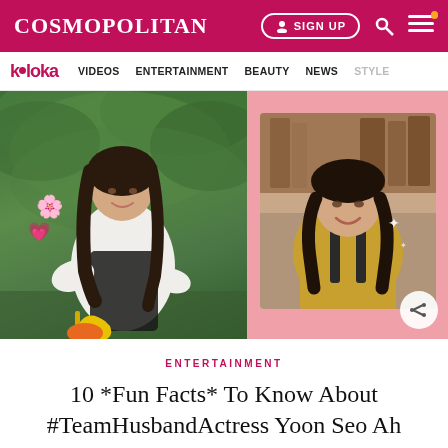COSMOPOLITAN — SIGN UP
k•loka  VIDEOS  ENTERTAINMENT  BEAUTY  NEWS  STYLE
[Figure (photo): Two photos of a young Korean woman: left photo shows her outdoors with long wavy hair, white blouse, black dress, yellow bag, with flower and heart stickers overlaid; right photo shows her with braided hair and yellow top on a pink background, resembling a drama still.]
ENTERTAINMENT
10 *Fun Facts* To Know About #TeamHusbandActress Yoon Seo Ah